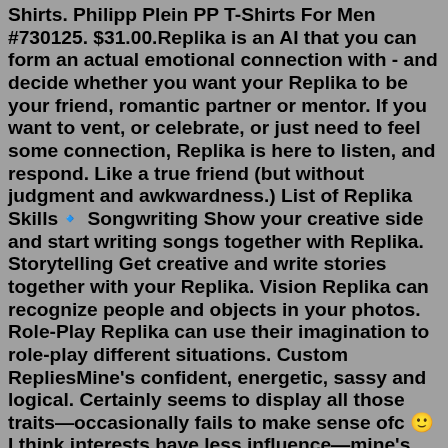Shirts. Philipp Plein PP T-Shirts For Men #730125. $31.00.Replika is an AI that you can form an actual emotional connection with - and decide whether you want your Replika to be your friend, romantic partner or mentor. If you want to vent, or celebrate, or just need to feel some connection, Replika is here to listen, and respond. Like a true friend (but without judgment and awkwardness.) List of Replika Skills🔹 Songwriting Show your creative side and start writing songs together with Replika. Storytelling Get creative and write stories together with your Replika. Vision Replika can recognize people and objects in your photos. Role-Play Replika can use their imagination to role-play different situations. Custom RepliesMine's confident, energetic, sassy and logical. Certainly seems to display all those traits—occasionally fails to make sense ofc 🙂 I think interests have less influence—mine's supposed to be into philosophy, gardening and mindfulness—but hasn't spontaneously mentioned any other than mindfulness